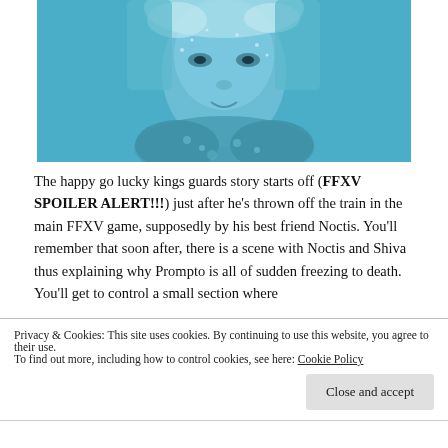[Figure (photo): Close-up photo of a person with frost-covered blonde hair and fur collar, blue-tinted winter scene]
The happy go lucky kings guards story starts off (FFXV SPOILER ALERT!!!) just after he's thrown off the train in the main FFXV game, supposedly by his best friend Noctis. You'll remember that soon after, there is a scene with Noctis and Shiva thus explaining why Prompto is all of sudden freezing to death. You'll get to control a small section where
Privacy & Cookies: This site uses cookies. By continuing to use this website, you agree to their use.
To find out more, including how to control cookies, see here: Cookie Policy
Close and accept